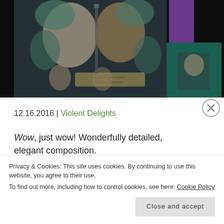[Figure (photo): Two side-by-side illustrated t-shirt designs: left showing detailed artwork of two female faces with ornate botanical and mechanical elements, text 'Violent Delights Have Violent Ends'; right showing a green t-shirt with smaller version of the same design on chest, on dark background.]
12.16.2016 | Violent Delights
Wow, just wow! Wonderfully detailed, elegant composition.
Privacy & Cookies: This site uses cookies. By continuing to use this website, you agree to their use.
To find out more, including how to control cookies, see here: Cookie Policy